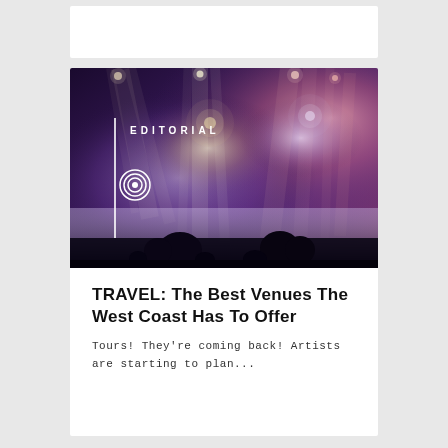[Figure (photo): Concert photo with dramatic purple and pink stage lighting, silhouettes of audience visible at the bottom, overhead stage lights creating lens flares. An 'EDITORIAL' badge with a concentric circles logo and vertical white line overlaid on the top-left of the image.]
TRAVEL: The Best Venues The West Coast Has To Offer
Tours! They're coming back! Artists are starting to plan...